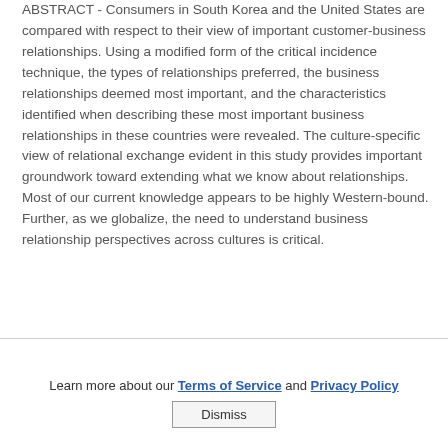ABSTRACT - Consumers in South Korea and the United States are compared with respect to their view of important customer-business relationships. Using a modified form of the critical incidence technique, the types of relationships preferred, the business relationships deemed most important, and the characteristics identified when describing these most important business relationships in these countries were revealed. The culture-specific view of relational exchange evident in this study provides important groundwork toward extending what we know about relationships. Most of our current knowledge appears to be highly Western-bound. Further, as we globalize, the need to understand business relationship perspectives across cultures is critical.
Learn more about our Terms of Service and Privacy Policy
Dismiss